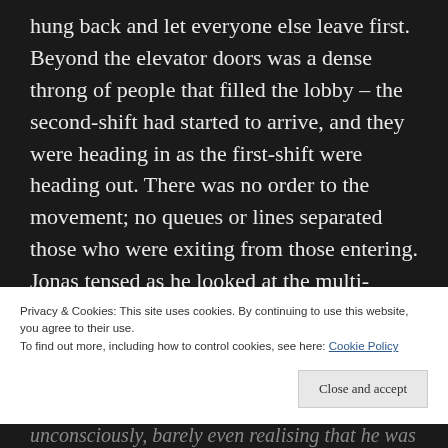hung back and let everyone else leave first. Beyond the elevator doors was a dense throng of people that filled the lobby – the second-shift had started to arrive, and they were heading in as the first-shift were heading out. There was no order to the movement; no queues or lines separated those who were exiting from those entering. Jonas tensed as he looked at the multi-limbed, many-headed beast. He swore under his breath and clenched his fists, almost unconsciously, barely even realising that he was doing so. His heart began to beat harder.
Privacy & Cookies: This site uses cookies. By continuing to use this website, you agree to their use.
To find out more, including how to control cookies, see here: Cookie Policy
Close and accept
unconsciously, barely even realising that he was doing so. His heart began to beat harder.